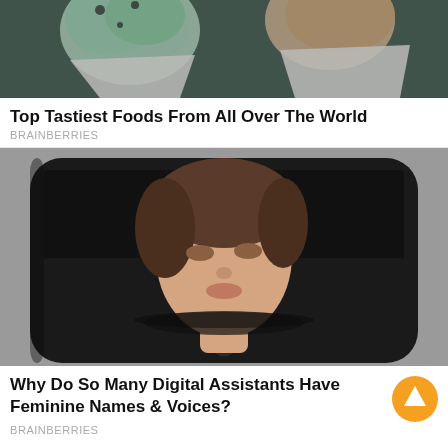[Figure (photo): Close-up photo of ice cream cones wrapped in paper]
Top Tastiest Foods From All Over The World
BRAINBERRIES
[Figure (photo): Artistic photo of a woman's face emerging from a smartphone screen lying flat on a surface]
Why Do So Many Digital Assistants Have Feminine Names & Voices?
BRAINBERRIES